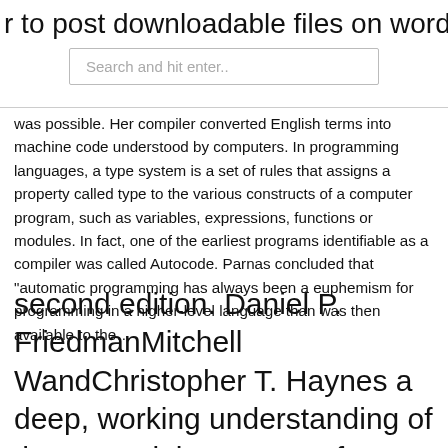to post downloadable files on wordp
Search and hit enter..
was possible. Her compiler converted English terms into machine code understood by computers. In programming languages, a type system is a set of rules that assigns a property called type to the various constructs of a computer program, such as variables, expressions, functions or modules. In fact, one of the earliest programs identifiable as a compiler was called Autocode. Parnas concluded that "automatic programming has always been a euphemism for programming in a higher-level language than was then available to the…
second edition. Daniel P. FriedmanMitchell WandChristopher T. Haynes a deep, working understanding of the essential concepts of programming